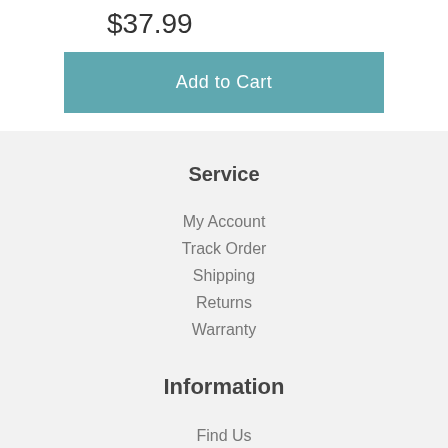$37.99
Add to Cart
Service
My Account
Track Order
Shipping
Returns
Warranty
Information
Find Us
Contact Us